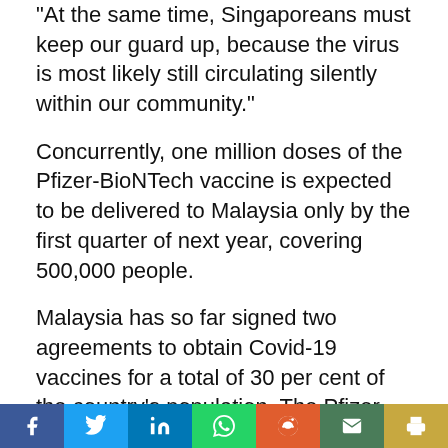"At the same time, Singaporeans must keep our guard up, because the virus is most likely still circulating silently within our community."
Concurrently, one million doses of the Pfizer-BioNTech vaccine is expected to be delivered to Malaysia only by the first quarter of next year, covering 500,000 people.
Malaysia has so far signed two agreements to obtain Covid-19 vaccines for a total of 30 per cent of the country's population. The Pfizer deal, which was signed on November 24, will cater to 20 per cent of the Malaysian population with 12.8 million doses, while an Optional Purchase arrangement with the
[Figure (infographic): Social sharing bar with icons for Facebook (blue), Twitter (light blue), LinkedIn (dark blue), WhatsApp (green), Reddit (orange), Email (dark green), Print (yellow)]